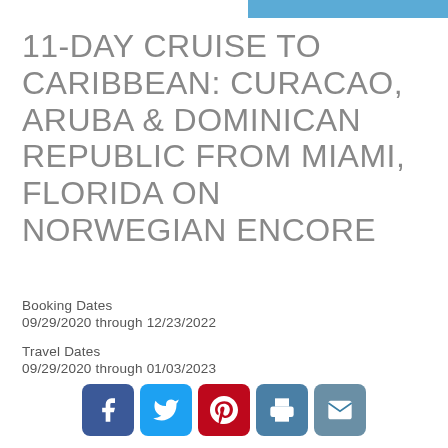11-DAY CRUISE TO CARIBBEAN: CURACAO, ARUBA & DOMINICAN REPUBLIC FROM MIAMI, FLORIDA ON NORWEGIAN ENCORE
Booking Dates
09/29/2020 through 12/23/2022
Travel Dates
09/29/2020 through 01/03/2023
[Figure (infographic): Social sharing buttons: Facebook, Twitter, Pinterest, Print, Email]